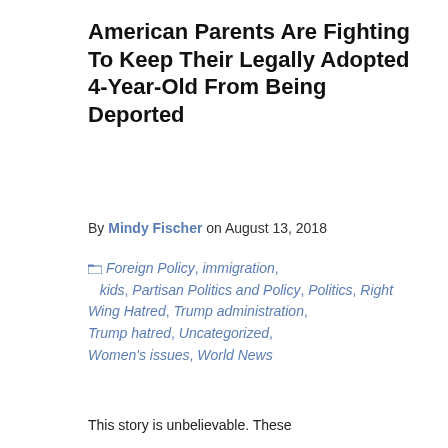American Parents Are Fighting To Keep Their Legally Adopted 4-Year-Old From Being Deported
By Mindy Fischer on August 13, 2018
Foreign Policy, immigration, kids, Partisan Politics and Policy, Politics, Right Wing Hatred, Trump administration, Trump hatred, Uncategorized, Women's issues, World News
This story is unbelievable. These